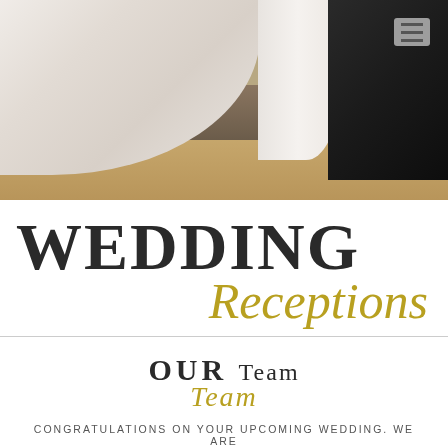[Figure (photo): Wedding reception venue interior showing white draped fabric, a dark-draped figure, a stage platform, and a hardwood dance floor]
WEDDING Receptions
OUR Team
CONGRATULATIONS ON YOUR UPCOMING WEDDING. WE ARE